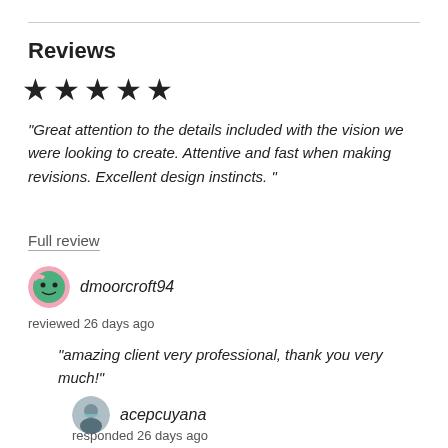Reviews
[Figure (other): Five black star rating icons]
"Great attention to the details included with the vision we were looking to create. Attentive and fast when making revisions. Excellent design instincts. "
Full review
dmoorcroft94
reviewed 26 days ago
"amazing client very professional, thank you very much!"
acepcuyana
responded 26 days ago